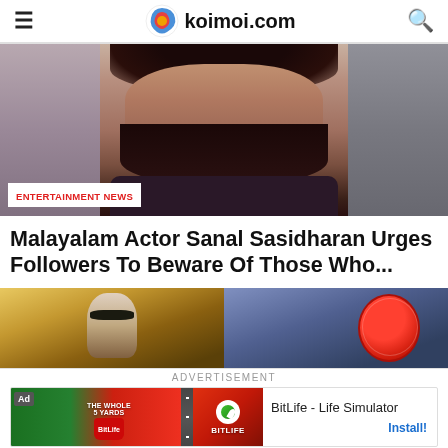koimoi.com
[Figure (photo): Photo of Malayalam actor Sanal Sasidharan, a bearded man with curly hair, smiling, with 'ENTERTAINMENT NEWS' badge overlay]
Malayalam Actor Sanal Sasidharan Urges Followers To Beware Of Those Who...
[Figure (photo): Movie promotional strip showing two movie posters side by side — a desert/action film on the left and Spider-Man on the right]
ADVERTISEMENT
[Figure (other): BitLife - Life Simulator advertisement banner with game icon and Install button]